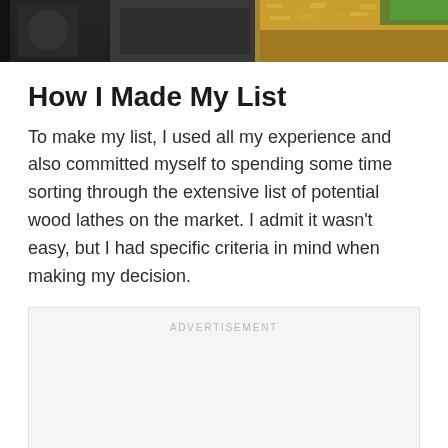[Figure (photo): Top portion of a photo showing woodworking machinery with wood shavings/sawdust, partially cropped at top of page]
How I Made My List
To make my list, I used all my experience and also committed myself to spending some time sorting through the extensive list of potential wood lathes on the market. I admit it wasn't easy, but I had specific criteria in mind when making my decision.
ADVERTISEMENT